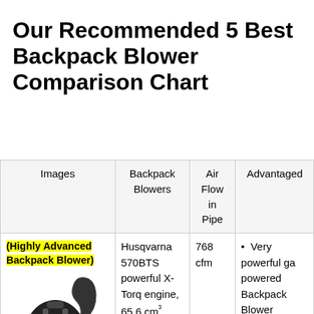Our Recommended 5 Best Backpack Blower Comparison Chart
| Images | Backpack Blowers | Air Flow in Pipe | Advantages |
| --- | --- | --- | --- |
| (Highly Advanced Backpack Blower) [image of backpack blower] | Husqvarna 570BTS powerful X-Torq engine, 65.6 cm³ Speed Backpack | 768 cfm | • Very powerful gas powered Backpack Blower
• Easy setup and |